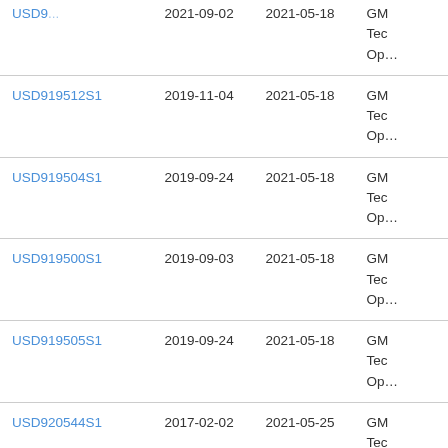| Patent Number | Filing Date | Issue Date | Description |
| --- | --- | --- | --- |
| USD919512S1 (partial) | 2021-09-02 (partial) | 2021-05-18 (partial) | GM Tec Op (partial) |
| USD919512S1 | 2019-11-04 | 2021-05-18 | GM Tec Op |
| USD919504S1 | 2019-09-24 | 2021-05-18 | GM Tec Op |
| USD919500S1 | 2019-09-03 | 2021-05-18 | GM Tec Op |
| USD919505S1 | 2019-09-24 | 2021-05-18 | GM Tec Op |
| USD920544S1 | 2017-02-02 | 2021-05-25 | GM Tec Op |
| USD920204S1 | 2019-11-05 | 2021-05-25 | GM Tec Op |